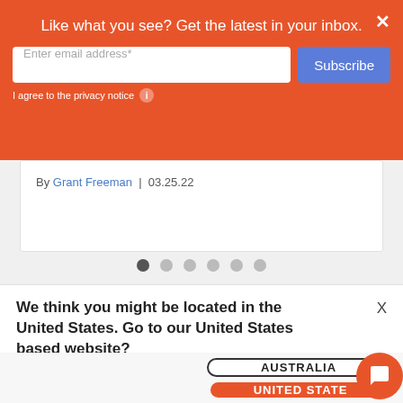Like what you see? Get the latest in your inbox.
Enter email address*
Subscribe
I agree to the privacy notice
By Grant Freeman | 03.25.22
We think you might be located in the United States. Go to our United States based website?
AUSTRALIA
UNITED STATE